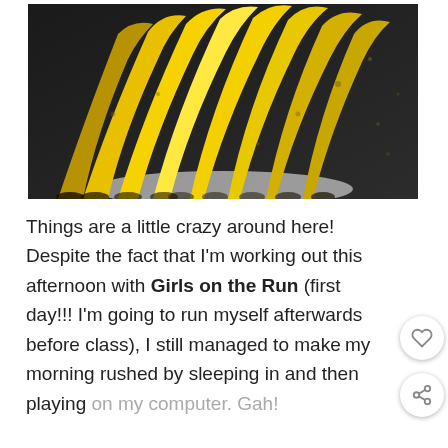[Figure (photo): A bunch of yellow bananas arranged fanning outward on a dark surface, close-up photo.]
Things are a little crazy around here! Despite the fact that I'm working out this afternoon with Girls on the Run (first day!!! I'm going to run myself afterwards before class), I still managed to make my morning rushed by sleeping in and then playing on my computer. Gah!